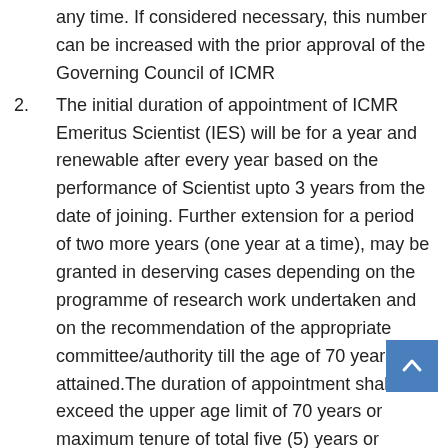any time. If considered necessary, this number can be increased with the prior approval of the Governing Council of ICMR
2. The initial duration of appointment of ICMR Emeritus Scientist (IES) will be for a year and renewable after every year based on the performance of Scientist upto 3 years from the date of joining. Further extension for a period of two more years (one year at a time), may be granted in deserving cases depending on the programme of research work undertaken and on the recommendation of the appropriate committee/authority till the age of 70 years is attained.The duration of appointment shall not exceed the upper age limit of 70 years or maximum tenure of total five (5) years or period of project (whichever is earlier). However, age relaxation may be considered in exceptionally deserving cases by the Governing Authority.